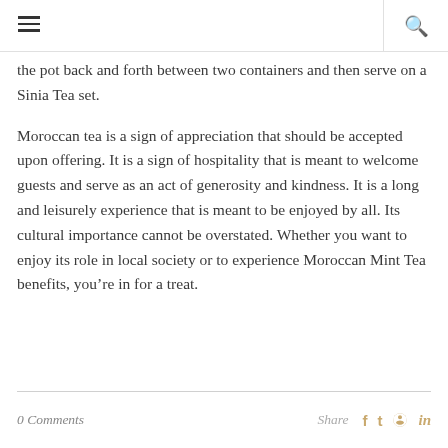[hamburger menu icon] [search icon]
the pot back and forth between two containers and then serve on a Sinia Tea set.
Moroccan tea is a sign of appreciation that should be accepted upon offering. It is a sign of hospitality that is meant to welcome guests and serve as an act of generosity and kindness. It is a long and leisurely experience that is meant to be enjoyed by all. Its cultural importance cannot be overstated. Whether you want to enjoy its role in local society or to experience Moroccan Mint Tea benefits, you’re in for a treat.
0 Comments  Share [facebook] [twitter] [pinterest] [linkedin]